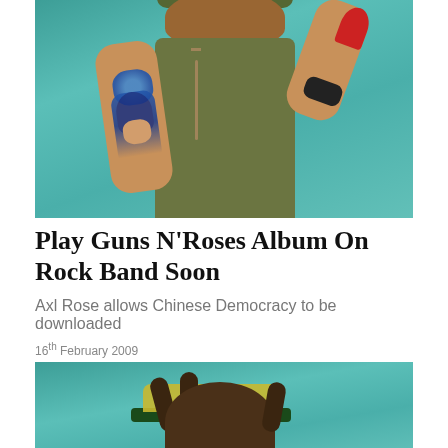[Figure (photo): Photo of Axl Rose performing on stage, showing tattoos on arm, wearing olive tank top, holding red microphone, with teal/turquoise background]
Play Guns N'Roses Album On Rock Band Soon
Axl Rose allows Chinese Democracy to be downloaded
16th February 2009
[Figure (photo): Second photo of performer, partially visible, showing braided hair and colorful hat against teal background]